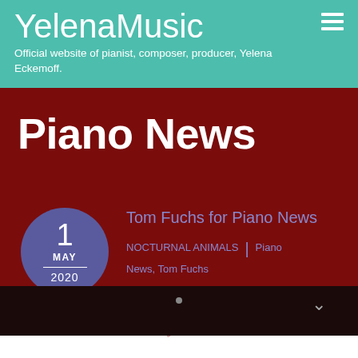YelenaMusic
Official website of pianist, composer, producer, Yelena Eckemoff.
Piano News
1
MAY
2020
Tom Fuchs for Piano News
NOCTURNAL ANIMALS | Piano News, Tom Fuchs